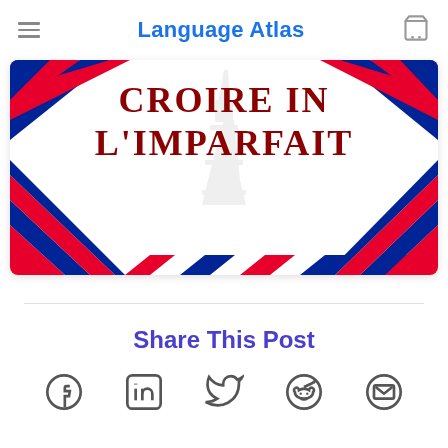Language Atlas
[Figure (illustration): French-themed decorative book or card cover with text 'CROIRE IN L'IMPARFAIT' in bold dark red letters on white background, with Eiffel Tower watermark, framed by diagonal red-white-blue stripes (French flag colors) on the borders.]
Share This Post
[Figure (infographic): Row of five social share icons: Facebook, LinkedIn, Twitter, Reddit, Email — in grey color.]